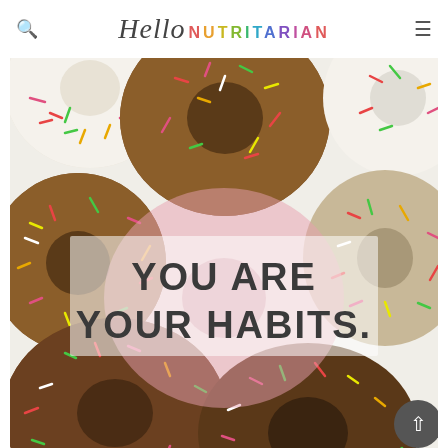Hello NUTRITARIAN
[Figure (photo): Overhead view of multiple donuts with colorful sprinkles and chocolate/white icing on a white surface, with text overlay reading 'YOU ARE YOUR HABITS.']
YOU ARE YOUR HABITS.